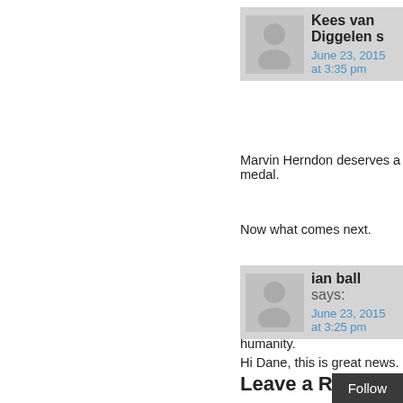Kees van Diggelen s
June 23, 2015 at 3:35 pm
Marvin Herndon deserves a medal.
Now what comes next.
How to stop this madness and how to hold people accountable for these crimes against humanity.
ian ball says:
June 23, 2015 at 3:25 pm
Hi Dane, this is great news.
Leave a Reply to ena